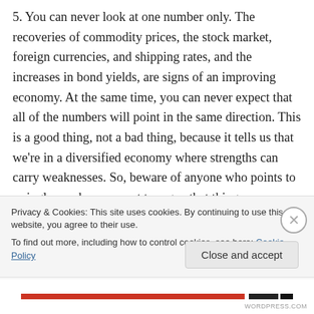5. You can never look at one number only. The recoveries of commodity prices, the stock market, foreign currencies, and shipping rates, and the increases in bond yields, are signs of an improving economy. At the same time, you can never expect that all of the numbers will point in the same direction. This is a good thing, not a bad thing, because it tells us that we're in a diversified economy where strengths can carry weaknesses. So, beware of anyone who points to a single number or event to argue that things
Privacy & Cookies: This site uses cookies. By continuing to use this website, you agree to their use.
To find out more, including how to control cookies, see here: Cookie Policy
Close and accept
WORDPRESS.COM